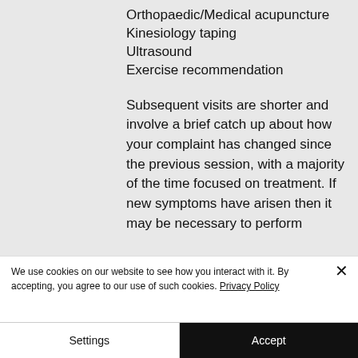Orthopaedic/Medical acupuncture
Kinesiology taping
Ultrasound
Exercise recommendation
Subsequent visits are shorter and involve a brief catch up about how your complaint has changed since the previous session, with a majority of the time focused on treatment.  If new symptoms have arisen then it may be necessary to perform
We use cookies on our website to see how you interact with it. By accepting, you agree to our use of such cookies. Privacy Policy
Settings
Accept